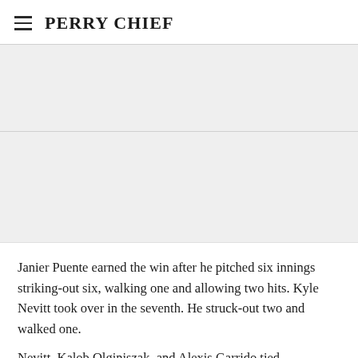PERRY CHIEF
[Figure (other): Advertisement banner placeholder (gray background)]
[Figure (other): Advertisement banner placeholder (gray background)]
Janier Puente earned the win after he pitched six innings striking-out six, walking one and allowing two hits. Kyle Nevitt took over in the seventh. He struck-out two and walked one.
Nevitt, Kalob Olginiszak, and Alexis Garrido tied